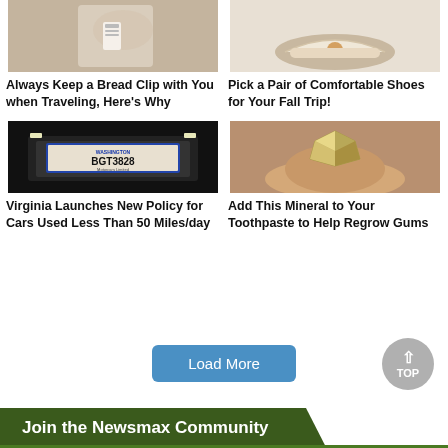[Figure (photo): Hand holding a bread clip close-up photo]
Always Keep a Bread Clip with You when Traveling, Here's Why
[Figure (photo): Comfortable white shoes with woven pattern for fall]
Pick a Pair of Comfortable Shoes for Your Fall Trip!
[Figure (photo): Washington state license plate reading BGT3828, Motorcars Limited]
Virginia Launches New Policy for Cars Used Less Than 50 Miles/day
[Figure (photo): Hand holding a shiny mineral/crystal chunk]
Add This Mineral to Your Toothpaste to Help Regrow Gums
Load More
Join the Newsmax Community